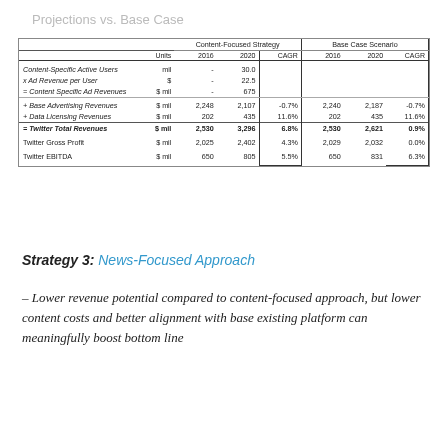Projections vs. Base Case
|  | Units | 2016 (Content-Focused Strategy) | 2020 (Content-Focused Strategy) | CAGR (Content-Focused Strategy) | 2016 (Base Case Scenario) | 2020 (Base Case Scenario) | CAGR (Base Case Scenario) |
| --- | --- | --- | --- | --- | --- | --- | --- |
| Content-Specific Active Users | mil | - | 30.0 |  |  |  |  |
| x Ad Revenue per User | $ | - | 22.5 |  |  |  |  |
| = Content Specific Ad Revenues | $ mil | - | 675 |  |  |  |  |
| + Base Advertising Revenues | $ mil | 2,248 | 2,107 | -0.7% | 2,240 | 2,187 | -0.7% |
| + Data Licensing Revenues | $ mil | 202 | 435 | 11.6% | 202 | 435 | 11.6% |
| = Twitter Total Revenues | $ mil | 2,530 | 3,296 | 6.8% | 2,530 | 2,621 | 0.9% |
| Twitter Gross Profit | $ mil | 2,025 | 2,402 | 4.3% | 2,029 | 2,032 | 0.0% |
| Twitter EBITDA | $ mil | 650 | 805 | 5.5% | 650 | 831 | 6.3% |
Strategy 3: News-Focused Approach
– Lower revenue potential compared to content-focused approach, but lower content costs and better alignment with base existing platform can meaningfully boost bottom line